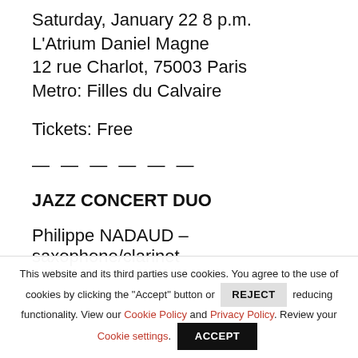Saturday, January 22 8 p.m.
L'Atrium Daniel Magne
12 rue Charlot, 75003 Paris
Metro: Filles du Calvaire
Tickets: Free
— — — — — —
JAZZ CONCERT DUO
Philippe NADAUD – saxophone/clarinet
This website and its third parties use cookies. You agree to the use of cookies by clicking the "Accept" button or REJECT reducing functionality. View our Cookie Policy and Privacy Policy. Review your Cookie settings. ACCEPT